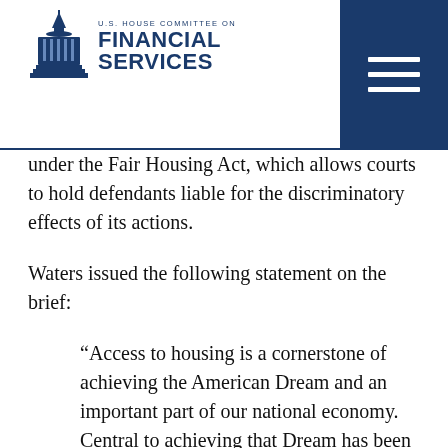U.S. House Committee on Financial Services
under the Fair Housing Act, which allows courts to hold defendants liable for the discriminatory effects of its actions.
Waters issued the following statement on the brief:
“Access to housing is a cornerstone of achieving the American Dream and an important part of our national economy. Central to achieving that Dream has been the disparate impact standard under the Fair Housing Act, which allows courts to